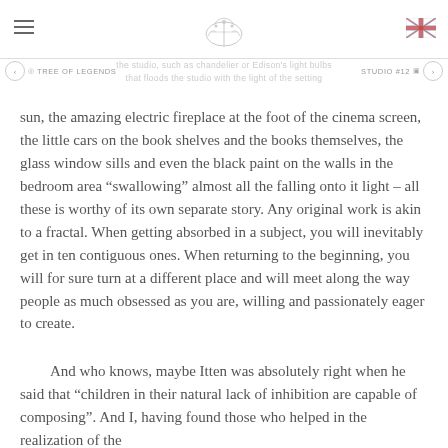TREE OF LEGENDS | STUDIO #12
sun, the amazing electric fireplace at the foot of the cinema screen, the little cars on the book shelves and the books themselves, the glass window sills and even the black paint on the walls in the bedroom area “swallowing” almost all the falling onto it light – all these is worthy of its own separate story. Any original work is akin to a fractal. When getting absorbed in a subject, you will inevitably get in ten contiguous ones. When returning to the beginning, you will for sure turn at a different place and will meet along the way people as much obsessed as you are, willing and passionately eager to create.
And who knows, maybe Itten was absolutely right when he said that “children in their natural lack of inhibition are capable of composing”. And I, having found those who helped in the realization of the